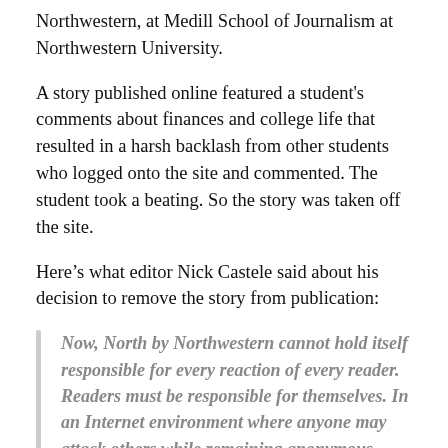Northwestern, at Medill School of Journalism at Northwestern University.
A story published online featured a student's comments about finances and college life that resulted in a harsh backlash from other students who logged onto the site and commented. The student took a beating. So the story was taken off the site.
Here’s what editor Nick Castele said about his decision to remove the story from publication:
Now, North by Northwestern cannot hold itself responsible for every reaction of every reader. Readers must be responsible for themselves. In an Internet environment where anyone may attack others while remaining anonymous, readers must consider their own responsibility to the Web community.

But we do hold ourselves responsible for